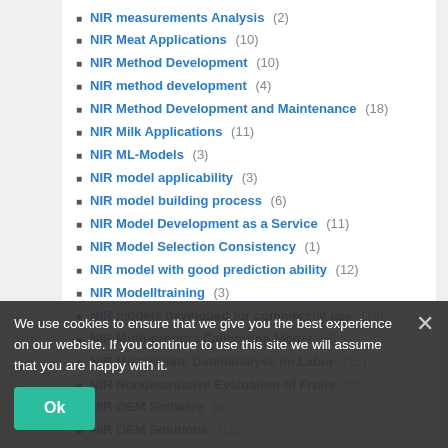NIR measurements Analysis (2)
NIR Meat Applications (10)
NIR Method Development (10)
NIR method development (4)
NIR Method Development and Maintenance (18)
NIR Milk Applications (11)
NIR ML-Models (3)
NIR model applicability (3)
NIR model building process (6)
NIR Model Development as a Service (11)
NIR Model Selection Consistency (1)
NIR model with good prediction ability (12)
NIR Modelltraining (3)
NIR models developed for commercial use (19)
NIR Multi-product Calibration Model (6)
NIR Multivariate Datenanalyse im Labor (16)
NIR Nondestructive Evaluation of Fruits (5)
NIR OEM Software (8)
NIR OEM Solutions (15)
NIR Open Data Format (1)
NIR Open Spectral Data Format (7)
NIR Optimierung (4)
NIR Optimization (5)
NIR optimizer (41)
NIR Outsourcing (9)
We use cookies to ensure that we give you the best experience on our website. If you continue to use this site we will assume that you are happy with it.